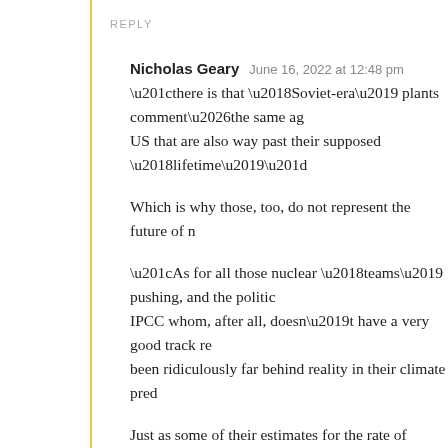REPLY
Nicholas Geary   June 16, 2022 at 12:48 pm
“there is that ‘Soviet-era’ plants comment…the same ag US that are also way past their supposed ‘lifetime’”
Which is why those, too, do not represent the future of n
“As for all those nuclear ‘teams’ pushing, and the politic IPCC whom, after all, doesn’t have a very good track re been ridiculously far behind reality in their climate pred
Just as some of their estimates for the rate of change app conservative, some of their estimates for the future cont also wind up being too conservative.
“So replacing one horrible industry with another that sp contaminant for thousands of years just doesn’t seem all